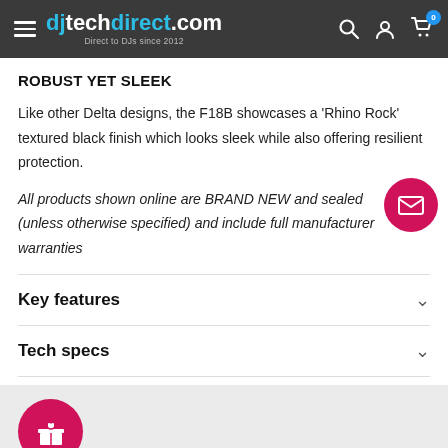djtechdirect.com — Direct to DJs since 2012
ROBUST YET SLEEK
Like other Delta designs, the F18B showcases a 'Rhino Rock' textured black finish which looks sleek while also offering resilient protection.
All products shown online are BRAND NEW and sealed (unless otherwise specified) and include full manufacturer warranties
Key features
Tech specs
[Figure (other): Red circular floating email/contact button with envelope icon]
[Figure (other): Red circular delivery/gift icon]
Delivery Information